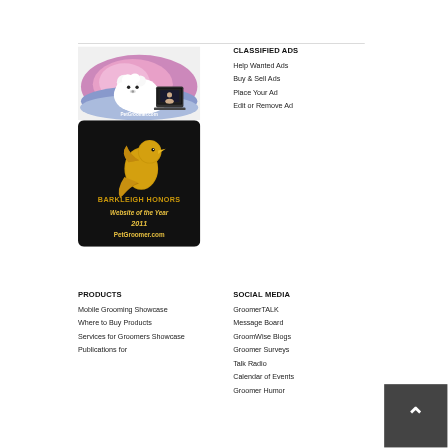[Figure (logo): PetGroomer.com oval logo with white fluffy dog and laptop on pink/purple background]
[Figure (logo): Barkleigh Honors Website of the Year 2011 PetGroomer.com award badge with golden bird on black background]
CLASSIFIED ADS
Help Wanted Ads
Buy & Sell Ads
Place Your Ad
Edit or Remove Ad
PRODUCTS
Mobile Grooming Showcase
Where to Buy Products
Services for Groomers Showcase
Publications for
SOCIAL MEDIA
GroomerTALK
Message Board
GroomWise Blogs
Groomer Surveys
Talk Radio
Calendar of Events
Groomer Humor